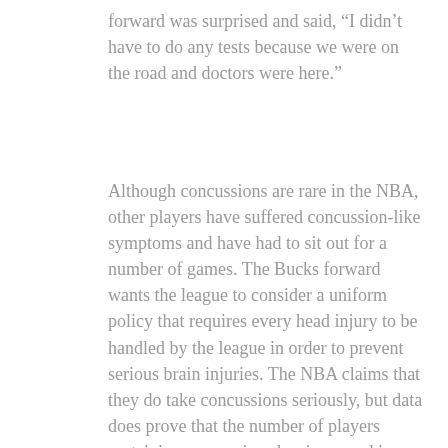forward was surprised and said, “I didn’t have to do any tests because we were on the road and doctors were here.”
Although concussions are rare in the NBA, other players have suffered concussion-like symptoms and have had to sit out for a number of games. The Bucks forward wants the league to consider a uniform policy that requires every head injury to be handled by the league in order to prevent serious brain injuries. The NBA claims that they do take concussions seriously, but data does prove that the number of players sustaining concussions has increased in recent years. The number of concussions players received in the NBA has increased by 30 percent since 2008.